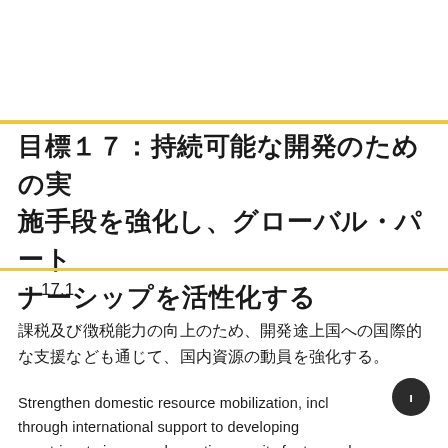目標１７：持続可能な開発のための実施手段を強化し、グローバル・パートナーシップを活性化する
・17.1
課税及び徴税能力の向上のため、開発途上国への国際的な支援なども通じて、国内資源の動員を強化する。
Strengthen domestic resource mobilization, including through international support to developing countries, to improve domestic capacity for tax and